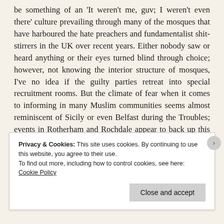be something of an 'It weren't me, guv; I weren't even there' culture prevailing through many of the mosques that have harboured the hate preachers and fundamentalist shit-stirrers in the UK over recent years. Either nobody saw or heard anything or their eyes turned blind through choice; however, not knowing the interior structure of mosques, I've no idea if the guilty parties retreat into special recruitment rooms. But the climate of fear when it comes to informing in many Muslim communities seems almost reminiscent of Sicily or even Belfast during the Troubles; events in Rotherham and Rochdale appear to back up this Mafia-like control the worst offenders have over the populace and why the police steer clear.
Privacy & Cookies: This site uses cookies. By continuing to use this website, you agree to their use.
To find out more, including how to control cookies, see here: Cookie Policy